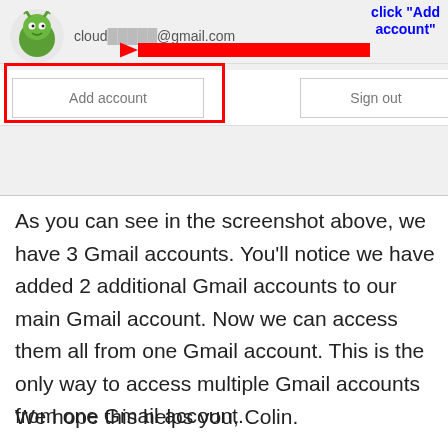[Figure (screenshot): Gmail account switcher UI showing a profile with a cartoon frog avatar, email address cloud...@gmail.com, an 'Add account' button highlighted with a red box outline, a 'Sign out' button, a red arrow pointing to the Add account button, and blue bold annotation text reading click "Add account"]
As you can see in the screenshot above, we have 3 Gmail accounts. You'll notice we have added 2 additional Gmail accounts to our main Gmail account. Now we can access them all from one Gmail account. This is the only way to access multiple Gmail accounts from one Gmail account.
We hope this helps you, Colin.